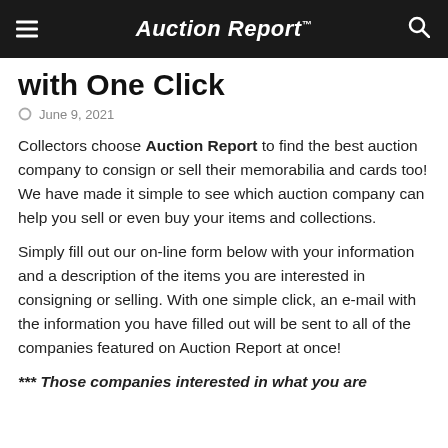Auction Report™
with One Click
June 9, 2021
Collectors choose Auction Report to find the best auction company to consign or sell their memorabilia and cards too! We have made it simple to see which auction company can help you sell or even buy your items and collections.
Simply fill out our on-line form below with your information and a description of the items you are interested in consigning or selling. With one simple click, an e-mail with the information you have filled out will be sent to all of the companies featured on Auction Report at once!
*** Those companies interested in what you are